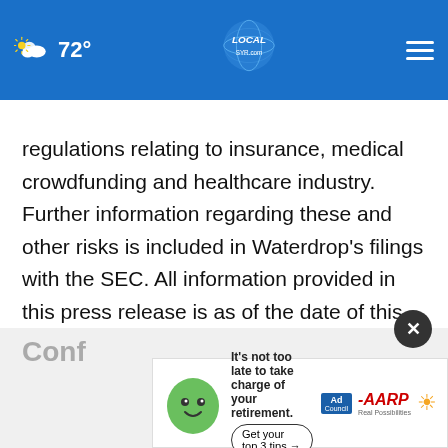72° LOCAL SYR.com
regulations relating to insurance, medical crowdfunding and healthcare industry. Further information regarding these and other risks is included in Waterdrop's filings with the SEC. All information provided in this press release is as of the date of this press release, and Waterdrop does not undertake any obligation to update any forward-looking statement, except as required under applicable law.
Conf
[Figure (infographic): AARP advertisement banner: 'It's not too late to take charge of your retirement. Get your top 3 tips →' with Ad Council logo and AARP Real Possibilities branding, animated mascot character]